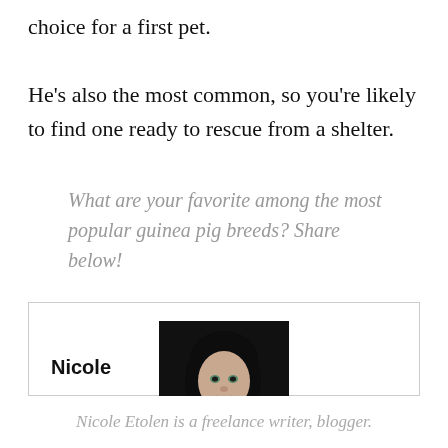choice for a first pet.

He's also the most common, so you're likely to find one ready to rescue from a shelter.
What are your favorite among the most popular guinea pig breeds? Share below!
[Figure (photo): Portrait photo of Nicole, a woman with dark hair against a dark background, wearing a red top.]
Nicole
Nicole Etolen is a freelance writer, blogger.